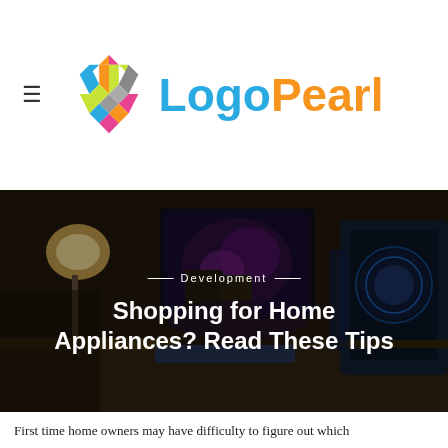LogoPearl
[Figure (photo): Dark moody desk setup with gaming PC, monitors, speakers and lamp in background serving as hero banner image]
Development
Shopping for Home Appliances? Read These Tips
First time home owners may have difficulty to figure out which